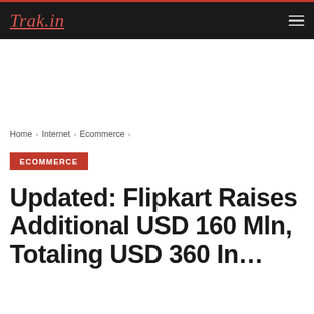Trak.in
Home › Internet › Ecommerce ›
ECOMMERCE
Updated: Flipkart Raises Additional USD 160 Mln, Totaling USD 360 In...